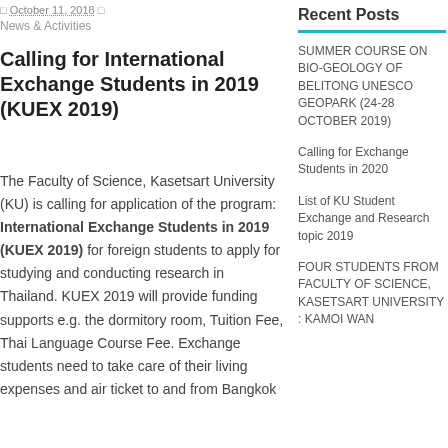October 11, 2018 | News & Activities
Calling for International Exchange Students in 2019 (KUEX 2019)
The Faculty of Science, Kasetsart University (KU) is calling for application of the program: International Exchange Students in 2019 (KUEX 2019) for foreign students to apply for studying and conducting research in Thailand. KUEX 2019 will provide funding supports e.g. the dormitory room, Tuition Fee, Thai Language Course Fee. Exchange students need to take care of their living expenses and air ticket to and from Bangkok
Recent Posts
SUMMER COURSE ON BIO-GEOLOGY OF BELITONG UNESCO GEOPARK (24-28 October 2019)
Calling for Exchange Students in 2020
List of KU Student Exchange and Research topic 2019
FOUR STUDENTS FROM FACULTY OF SCIENCE, KASETSART UNIVERSITY : KAMOI WAN